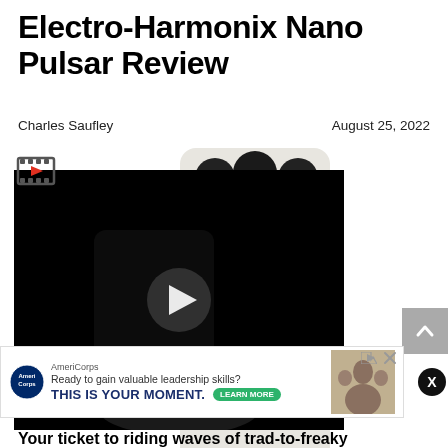Electro-Harmonix Nano Pulsar Review
Charles Saufley
August 25, 2022
[Figure (screenshot): Video thumbnail showing the Electro-Harmonix Nano Pulsar pedal on a dark background with a play button overlay, and a film strip icon in the top left corner. The pedal is visible below and to the right of the video player.]
[Figure (screenshot): AmeriCorps advertisement banner: 'Ready to gain valuable leadership skills? THIS IS YOUR MOMENT.' with a LEARN MORE button and a photo of people outdoors.]
Your ticket to riding waves of trad-to-freaky